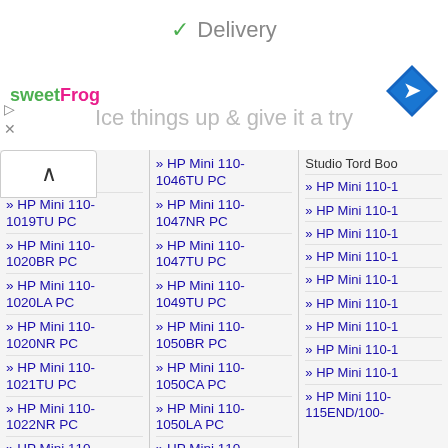✓ Delivery
[Figure (logo): sweetFrog logo]
[Figure (illustration): Blue diamond navigation arrow icon]
Ice things up & give it a try
» HP Mini 110-1018TU PC
» HP Mini 110-1019TU PC
» HP Mini 110-1020BR PC
» HP Mini 110-1020LA PC
» HP Mini 110-1020NR PC
» HP Mini 110-1021TU PC
» HP Mini 110-1022NR PC
» HP Mini 110-1023TU PC
» HP Mini 110-1046TU PC
» HP Mini 110-1047NR PC
» HP Mini 110-1047TU PC
» HP Mini 110-1049TU PC
» HP Mini 110-1050BR PC
» HP Mini 110-1050CA PC
» HP Mini 110-1050LA PC
» HP Mini 110-1050NR PC
Studio Tord Boo...
» HP Mini 110-1...
» HP Mini 110-1...
» HP Mini 110-1...
» HP Mini 110-1...
» HP Mini 110-1...
» HP Mini 110-1...
» HP Mini 110-1...
» HP Mini 110-1...
» HP Mini 110-1...
» HP Mini 110-115END/100-...